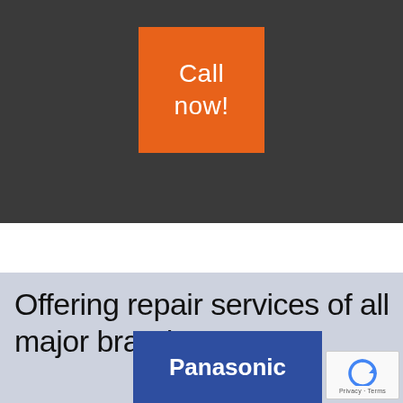[Figure (other): Orange call-to-action button on dark gray background with text 'Call now!']
Offering repair services of all major brands
[Figure (logo): Panasonic brand logo — white text 'Panasonic' on blue rectangle background]
[Figure (other): reCAPTCHA badge with circular arrow icon and 'Privacy · Terms' text]